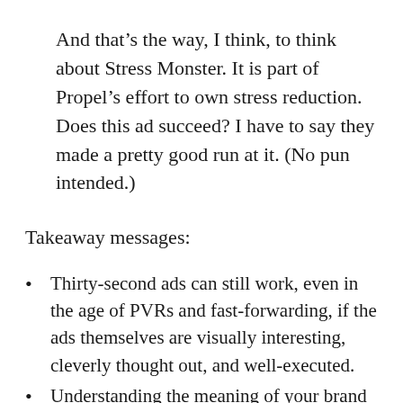And that's the way, I think, to think about Stress Monster. It is part of Propel's effort to own stress reduction. Does this ad succeed? I have to say they made a pretty good run at it. (No pun intended.)
Takeaway messages:
Thirty-second ads can still work, even in the age of PVRs and fast-forwarding, if the ads themselves are visually interesting, cleverly thought out, and well-executed.
Understanding the meaning of your brand — how the market sees you today — is the first